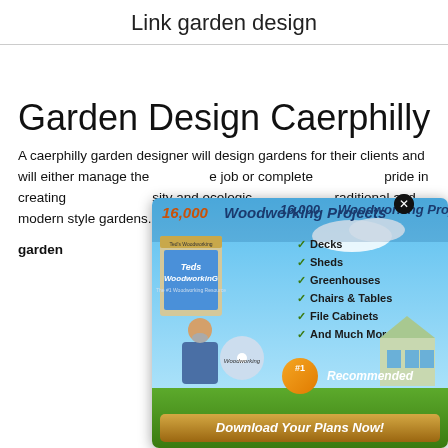Link garden design
Garden Design Caerphilly
A caerphilly garden designer will design gardens for their clients and will either manage the job or complete the job for them. We take pride in creating gardens that are full of diversity and ecological value. We can design both traditional and modern style gardens. Call us on 07898 933429.
garden design leeds uk
[Figure (infographic): Advertisement overlay for '16,000 Woodworking Projects' featuring checkmarks for Decks, Sheds, Greenhouses, Chairs & Tables, File Cabinets, And Much More!, with a product box, a man with an axe, a DVD disc, '#1 Recommended' badge, and 'Download Your Plans Now!' call to action button.]